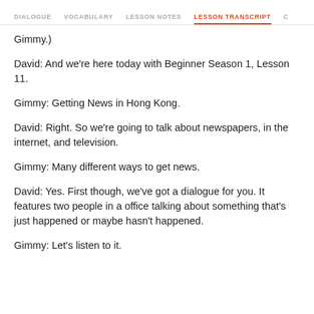DIALOGUE   VOCABULARY   LESSON NOTES   LESSON TRANSCRIPT   C
Gimmy.)
David: And we're here today with Beginner Season 1, Lesson 11.
Gimmy: Getting News in Hong Kong.
David: Right. So we're going to talk about newspapers, in the internet, and television.
Gimmy: Many different ways to get news.
David: Yes. First though, we've got a dialogue for you. It features two people in a office talking about something that's just happened or maybe hasn't happened.
Gimmy: Let's listen to it.